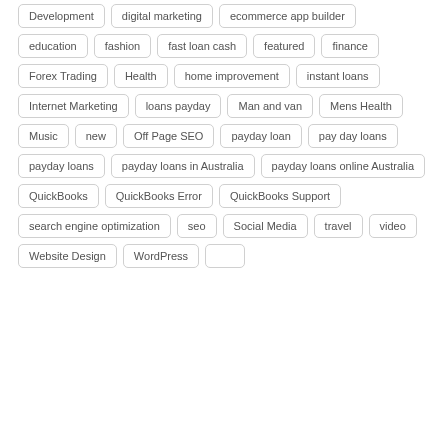Development
digital marketing
ecommerce app builder
education
fashion
fast loan cash
featured
finance
Forex Trading
Health
home improvement
instant loans
Internet Marketing
loans payday
Man and van
Mens Health
Music
new
Off Page SEO
payday loan
pay day loans
payday loans
payday loans in Australia
payday loans online Australia
QuickBooks
QuickBooks Error
QuickBooks Support
search engine optimization
seo
Social Media
travel
video
Website Design
WordPress